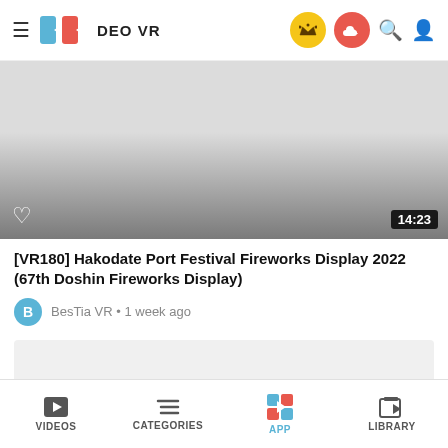DEO VR
[Figure (screenshot): Video thumbnail with gradient from light gray to dark gray, heart icon bottom-left, duration 14:23 bottom-right]
[VR180] Hakodate Port Festival Fireworks Display 2022 (67th Doshin Fireworks Display)
BesTia VR • 1 week ago
[Figure (screenshot): Second video thumbnail placeholder, light gray rectangle]
VIDEOS   CATEGORIES   APP   LIBRARY